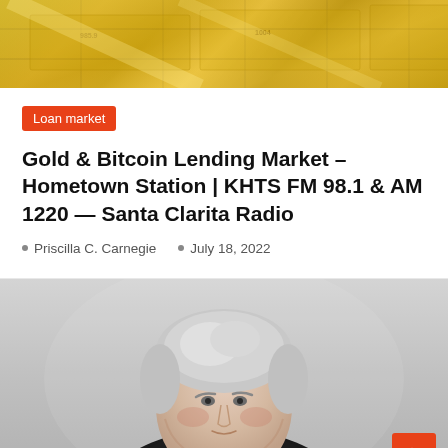[Figure (photo): Gold bars stacked together with markings visible, golden metallic surface]
Loan market
Gold & Bitcoin Lending Market – Hometown Station | KHTS FM 98.1 & AM 1220 — Santa Clarita Radio
Priscilla C. Carnegie   July 18, 2022
[Figure (photo): Older man with white/grey hair wearing a black jacket, photographed from the shoulders up against a grey background]